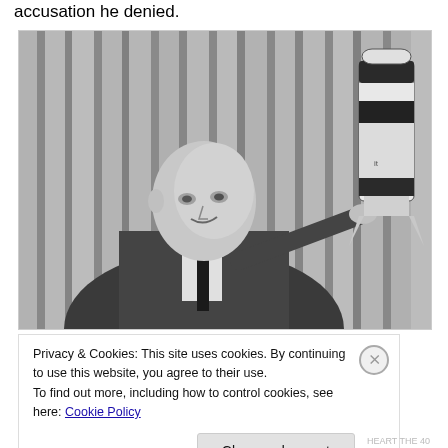accusation he denied.
[Figure (photo): Black and white photograph of a bald man in a dark suit and tie, holding and pointing to a model rocket. Curtain background behind him.]
Privacy & Cookies: This site uses cookies. By continuing to use this website, you agree to their use.
To find out more, including how to control cookies, see here: Cookie Policy
Close and accept